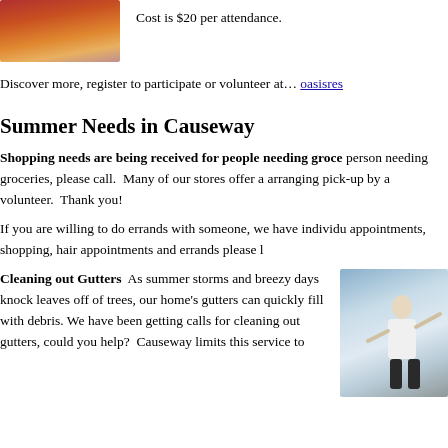[Figure (photo): Photo of a heart shape held up against a sunset/sunrise sky with warm orange and red tones]
Cost is $20 per attendance.
Discover more, register to participate or volunteer at… oasisres…
Summer Needs in Causeway
Shopping needs are being received for people needing groce… person needing groceries, please call.  Many of our stores offer a… arranging pick-up by a volunteer.  Thank you!
If you are willing to do errands with someone, we have individu… appointments, shopping, hair appointments and errands please l…
Cleaning out Gutters  As summer storms and breezy days knock leaves off of trees, our home's gutters can quickly fill with debris. We have been getting calls for cleaning out gutters, could you help?  Causeway limits this service to
[Figure (photo): Photo of a person cleaning gutters on a house, wearing a white shirt against a blue sky]